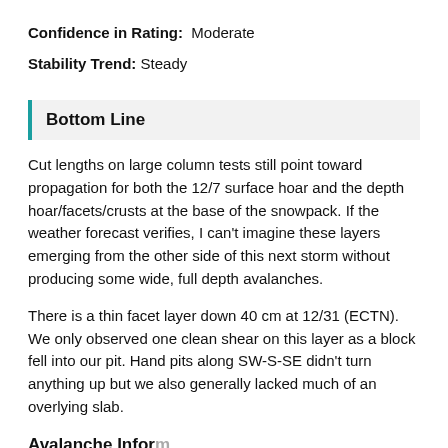Confidence in Rating: Moderate
Stability Trend: Steady
Bottom Line
Cut lengths on large column tests still point toward propagation for both the 12/7 surface hoar and the depth hoar/facets/crusts at the base of the snowpack. If the weather forecast verifies, I can't imagine these layers emerging from the other side of this next storm without producing some wide, full depth avalanches.
There is a thin facet layer down 40 cm at 12/31 (ECTN). We only observed one clean shear on this layer as a block fell into our pit. Hand pits along SW-S-SE didn't turn anything up but we also generally lacked much of an overlying slab.
Avalanche Information